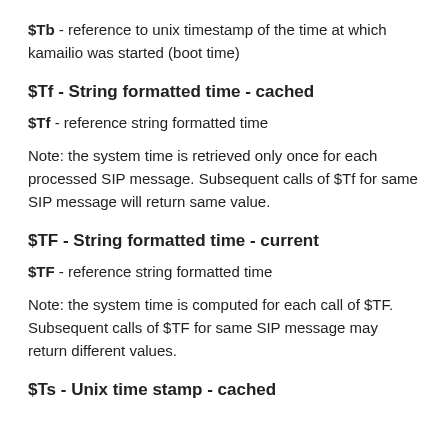$Tb - reference to unix timestamp of the time at which kamailio was started (boot time)
$Tf - String formatted time - cached
$Tf - reference string formatted time
Note: the system time is retrieved only once for each processed SIP message. Subsequent calls of $Tf for same SIP message will return same value.
$TF - String formatted time - current
$TF - reference string formatted time
Note: the system time is computed for each call of $TF. Subsequent calls of $TF for same SIP message may return different values.
$Ts - Unix time stamp - cached